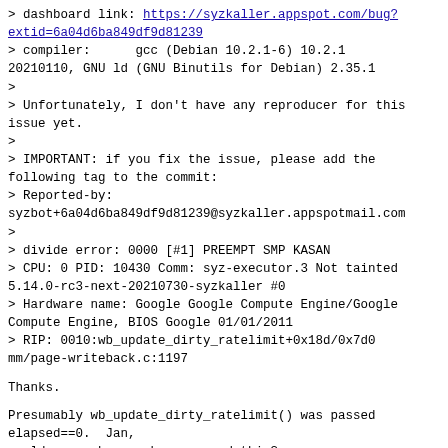> dashboard link: https://syzkaller.appspot.com/bug?extid=6a04d6ba849df9d81239
> compiler:      gcc (Debian 10.2.1-6) 10.2.1
20210110, GNU ld (GNU Binutils for Debian) 2.35.1
>
> Unfortunately, I don't have any reproducer for this issue yet.
>
> IMPORTANT: if you fix the issue, please add the following tag to the commit:
> Reported-by:
syzbot+6a04d6ba849df9d81239@syzkaller.appspotmail.com
>
> divide error: 0000 [#1] PREEMPT SMP KASAN
> CPU: 0 PID: 10430 Comm: syz-executor.3 Not tainted
5.14.0-rc3-next-20210730-syzkaller #0
> Hardware name: Google Google Compute Engine/Google
Compute Engine, BIOS Google 01/01/2011
> RIP: 0010:wb_update_dirty_ratelimit+0x18d/0x7d0
mm/page-writeback.c:1197
Thanks.
Presumably wb_update_dirty_ratelimit() was passed
elapsed==0.  Jan,
could your changes have caused this?
> Code: 00 00 00 00 00 fc ff df 48 89 fa 48 c1 ea 03 80
3c 02 00 0f 85 af 05 00 00 4c 2b b5 30 02 00 00 49 8d
7f 58 31 d2 49 6b c6 64 <48> f7 f3 48 89 fa 48 89 04 24